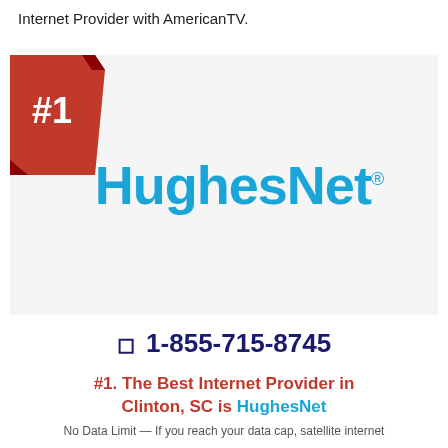Internet Provider with AmericanTV.
[Figure (logo): HughesNet logo with #1 red ribbon badge in upper left corner of a light gray box. The logo shows 'HughesNet.' in bold cyan/blue lettering.]
☎ 1-855-715-8745
#1. The Best Internet Provider in Clinton, SC is HughesNet
No Data Limit — If you reach your data cap, satellite internet